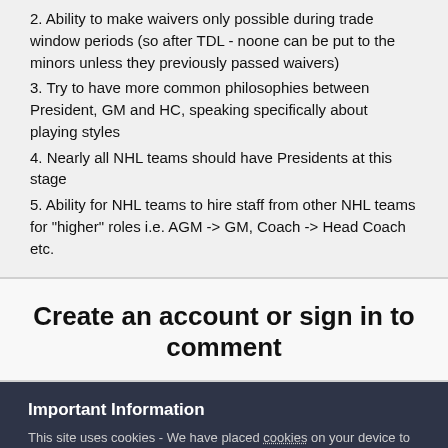2. Ability to make waivers only possible during trade window periods (so after TDL - noone can be put to the minors unless they previously passed waivers)
3. Try to have more common philosophies between President, GM and HC, speaking specifically about playing styles
4. Nearly all NHL teams should have Presidents at this stage
5. Ability for NHL teams to hire staff from other NHL teams for "higher" roles i.e. AGM -> GM, Coach -> Head Coach etc.
Create an account or sign in to comment
Important Information
This site uses cookies - We have placed cookies on your device to help make this website better. You can adjust your cookie settings, otherwise we'll assume you're okay to continue.
✓  I accept